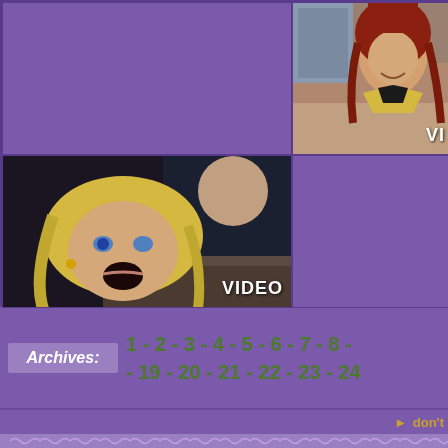[Figure (photo): Top-left cell: purple/empty thumbnail placeholder]
[Figure (photo): Top-right cell: photo of red-haired woman in yellow-black halter top, with 'VI' label overlay]
[Figure (photo): Bottom-left cell: explicit adult photo with 'VIDEO' label overlay]
[Figure (photo): Bottom-right cell: purple placeholder cell]
Archives: 1 - 2 - 3 - 4 - 5 - 6 - 7 - 8 - ... - 19 - 20 - 21 - 22 - 23 - 24...
don't